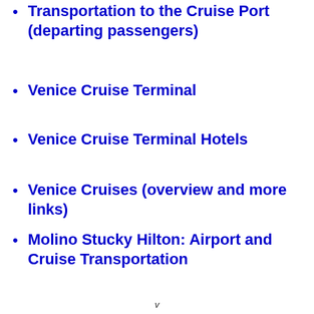Transportation to the Cruise Port (departing passengers)
Venice Cruise Terminal
Venice Cruise Terminal Hotels
Venice Cruises (overview and more links)
Molino Stucky Hilton: Airport and Cruise Transportation
v